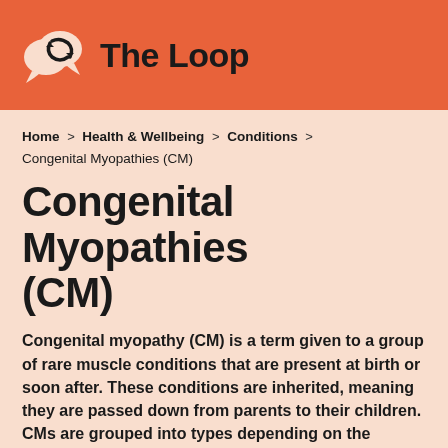The Loop
Home > Health & Wellbeing > Conditions > Congenital Myopathies (CM)
Congenital Myopathies (CM)
Congenital myopathy (CM) is a term given to a group of rare muscle conditions that are present at birth or soon after. These conditions are inherited, meaning they are passed down from parents to their children. CMs are grouped into types depending on the proteins involved and the affect these proteins have on the muscle cells. The severity of CM varies between people but these conditions are usually non-progressive, meaning they usually don't worsen over time and the symptoms often remain stable as the child grows older. This guide will